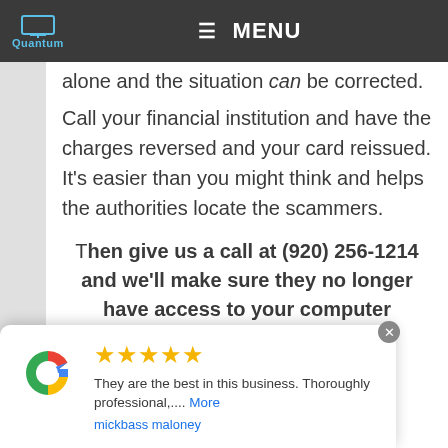Quantum — MENU
alone and the situation can be corrected.
Call your financial institution and have the charges reversed and your card reissued. It's easier than you might think and helps the authorities locate the scammers.
Then give us a call at (920) 256-1214 and we'll make sure they no longer have access to your computer
[Figure (other): Google review popup with 5 stars, text 'They are the best in this business. Thoroughly professional,...', reviewer 'mickbass maloney']